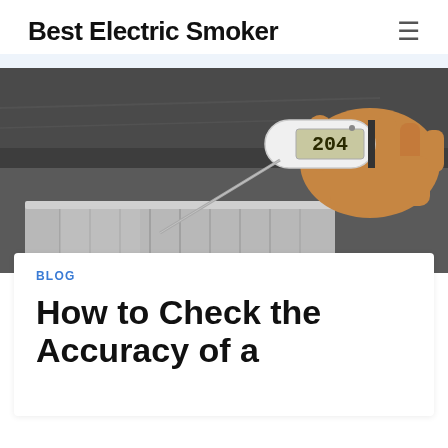Best Electric Smoker
[Figure (photo): A hand holding a white digital instant-read thermometer displaying '204' being inserted into a stainless steel pot, with a dark kitchen background.]
BLOG
How to Check the Accuracy of a